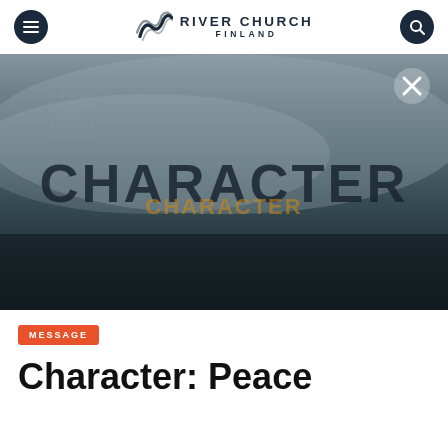River Church Finland
[Figure (photo): Dark atmospheric image with the word CHARACTER displayed in large bold text, set against a misty/foggy outdoor background. An X close button is visible in the top right corner. A decorative dot grid pattern appears in the top left.]
MESSAGE
Character: Peace